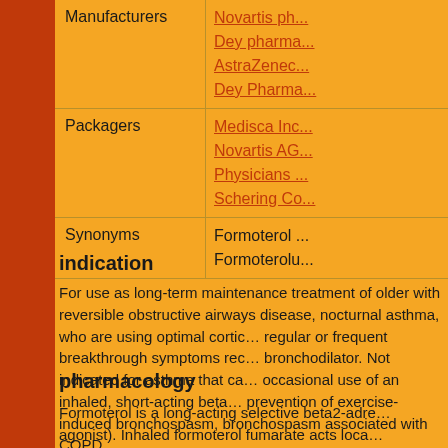| Field | Value |
| --- | --- |
| Manufacturers | Novartis ph...
Dey pharma...
AstraZenec...
Dey Pharma... |
| Packagers | Medisca Inc...
Novartis AG...
Physicians ...
Schering Co... |
| Synonyms | Formoterol ...
Formotorolu... |
indication
For use as long-term maintenance treatment of older with reversible obstructive airways disease, nocturnal asthma, who are using optimal corticosteroids, regular or frequent breakthrough symptoms requiring a bronchodilator. Not indicated for asthma that can be controlled by occasional use of an inhaled, short-acting beta agonist. Also for prevention of exercise-induced bronchospasm, and bronchospasm associated with COPD.
pharmacology
Formoterol is a long-acting selective beta2-adrenoceptor agonist). Inhaled formoterol fumarate acts locally...